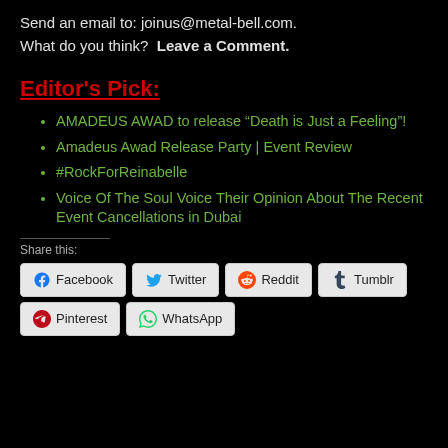Send an email to: joinus@metal-bell.com.
What do you think?  Leave a Comment.
Editor's Pick:
AMADEUS AWAD to release “Death is Just a Feeling”!
Amadeus Awad Release Party | Event Review
#RockForReinabelle
Voice Of The Soul Voice Their Opinion About The Recent Event Cancellations in Dubai
Share this:
Facebook  Twitter  Reddit  Tumblr  Pinterest  WhatsApp